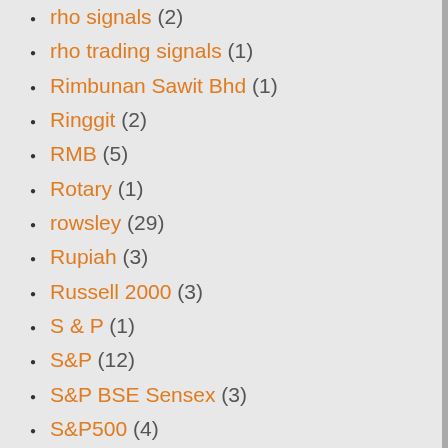rho signals (2)
rho trading signals (1)
Rimbunan Sawit Bhd (1)
Ringgit (2)
RMB (5)
Rotary (1)
rowsley (29)
Rupiah (3)
Russell 2000 (3)
S & P (1)
S&P (12)
S&P BSE Sensex (3)
S&P500 (4)
santa claus rally (1)
Sarin (2)
SATS (2)
sembcorp industries (1)
sembmarine (14)
semi-conductor index (1)